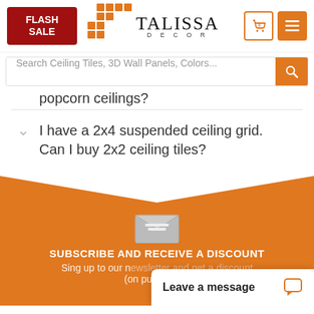[Figure (screenshot): Talissa Decor website header with Flash Sale badge, logo with orange T grid, TALISSA DECOR wordmark, cart icon showing 0, and hamburger menu icon]
[Figure (screenshot): Search bar with placeholder text 'Search Ceiling Tiles, 3D Wall Panels, Colors...' and orange search button]
popcorn ceilings?
I have a 2x4 suspended ceiling grid. Can I buy 2x2 ceiling tiles?
[Figure (illustration): Orange section with envelope/mail icon and downward pointing arrow shape at top]
SUBSCRIBE AND RECEIVE A DISCOUNT
Sing up to our n... (on pu...
Leave a message